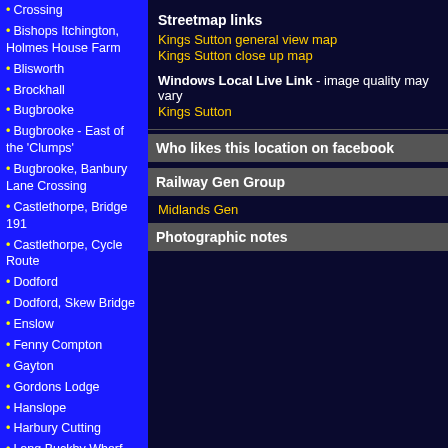Crossing
Bishops Itchington, Holmes House Farm
Blisworth
Brockhall
Bugbrooke
Bugbrooke - East of the 'Clumps'
Bugbrooke, Banbury Lane Crossing
Castlethorpe, Bridge 191
Castlethorpe, Cycle Route
Dodford
Dodford, Skew Bridge
Enslow
Fenny Compton
Gayton
Gordons Lodge
Hanslope
Harbury Cutting
Long Buckby Wharf
Long Buckby, Greenhill Farm
Milton Malsor
Oxford Station
Roade Cutting
Sydenham
Watford Gap
Streetmap links
Kings Sutton general view map
Kings Sutton close up map
Windows Local Live Link - image quality may vary
Kings Sutton
Who likes this location on facebook
Railway Gen Group
Midlands Gen
Photographic notes